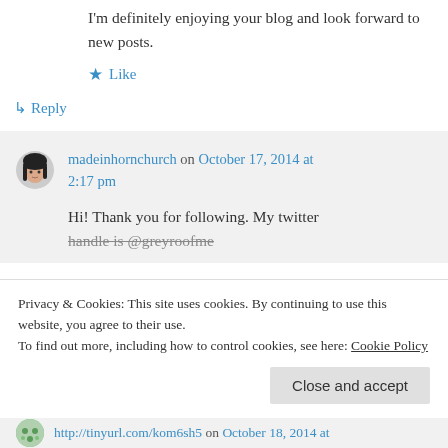I'm definitely enjoying your blog and look forward to new posts.
★ Like
↳ Reply
madeinhornchurch on October 17, 2014 at 2:17 pm
Hi! Thank you for following. My twitter handle is @greyroofme
Privacy & Cookies: This site uses cookies. By continuing to use this website, you agree to their use.
To find out more, including how to control cookies, see here: Cookie Policy
Close and accept
http://tinyurl.com/kom6sh5 on October 18, 2014 at